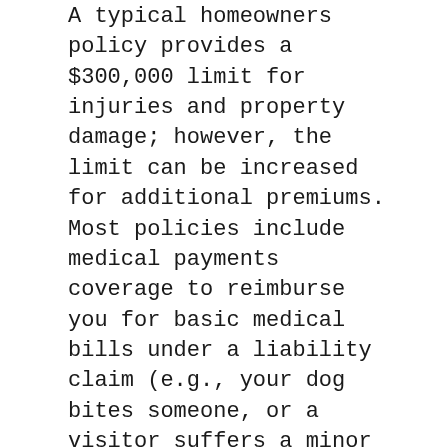A typical homeowners policy provides a $300,000 limit for injuries and property damage; however, the limit can be increased for additional premiums. Most policies include medical payments coverage to reimburse you for basic medical bills under a liability claim (e.g., your dog bites someone, or a visitor suffers a minor injury on your property). Standard limits for this type of coverage are $1,000 or $5,000.
Personal Umbrella Policies
Umbrella coverage is sold as a separate policy to provide a safety net of extra liability insurance